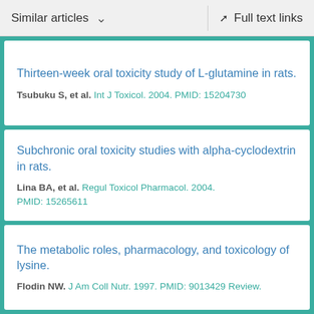Similar articles   Full text links
Thirteen-week oral toxicity study of L-glutamine in rats. Tsubuku S, et al. Int J Toxicol. 2004. PMID: 15204730
Subchronic oral toxicity studies with alpha-cyclodextrin in rats. Lina BA, et al. Regul Toxicol Pharmacol. 2004. PMID: 15265611
The metabolic roles, pharmacology, and toxicology of lysine. Flodin NW. J Am Coll Nutr. 1997. PMID: 9013429 Review.